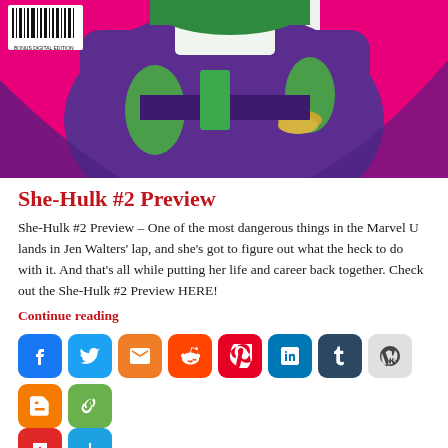[Figure (illustration): She-Hulk comic book cover art showing a green-skinned female character in purple outfit against a pink/magenta background, with barcode visible in upper left corner]
She-Hulk #2 Preview
She-Hulk #2 Preview – One of the most dangerous things in the Marvel U lands in Jen Walters' lap, and she's got to figure out what the heck to do with it. And that's all while putting her life and career back together. Check out the She-Hulk #2 Preview HERE!
Continue reading
[Figure (infographic): Row of social media sharing buttons: Facebook, Twitter, Email, Reddit, Pinterest, LinkedIn, Tumblr, WordPress, Blogger, Copy Link, Flipboard, More]